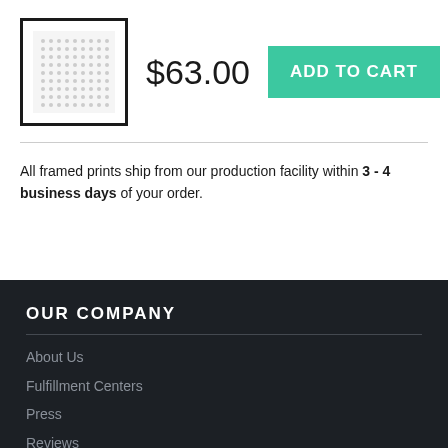[Figure (photo): Small framed print product thumbnail image with black border showing a dotted/halftone pattern interior]
$63.00
ADD TO CART
All framed prints ship from our production facility within 3 - 4 business days of your order.
OUR COMPANY
About Us
Fulfillment Centers
Press
Reviews
Blog
Videos
Wholesale Prints
Gig Posters
Sell Merch Online